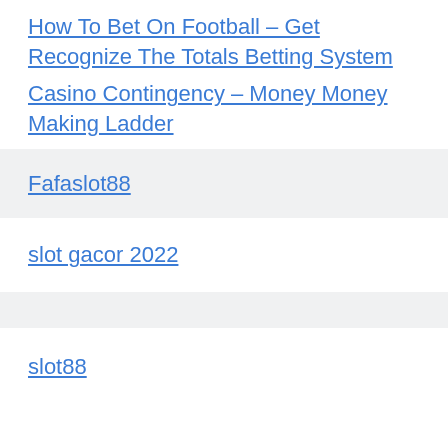How To Bet On Football – Get Recognize The Totals Betting System
Casino Contingency – Money Money Making Ladder
Fafaslot88
slot gacor 2022
slot88